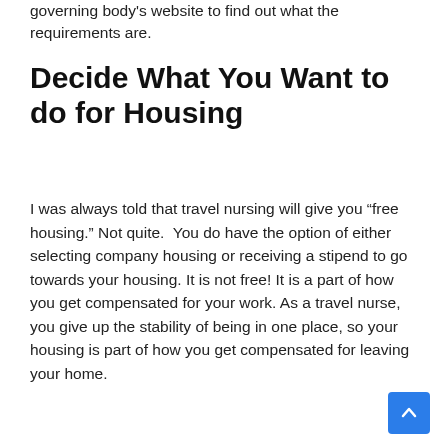governing body's website to find out what the requirements are.
Decide What You Want to do for Housing
I was always told that travel nursing will give you “free housing.” Not quite.  You do have the option of either selecting company housing or receiving a stipend to go towards your housing. It is not free! It is a part of how you get compensated for your work. As a travel nurse, you give up the stability of being in one place, so your housing is part of how you get compensated for leaving your home.